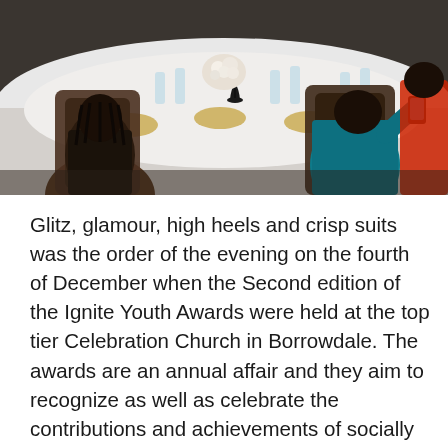[Figure (photo): Photo of people seated at a formal banquet table with white tablecloth, water bottles, and food. A person in a teal/blue outfit is visible on the right taking a photo with a phone. Dark wooden chairs visible.]
Glitz, glamour, high heels and crisp suits was the order of the evening on the fourth of December when the Second edition of the Ignite Youth Awards were held at the top tier Celebration Church in Borrowdale. The awards are an annual affair and they aim to recognize as well as celebrate the contributions and achievements of socially responsible youth aged between thirteen to thirty five years, who have contributed to society in a positive way